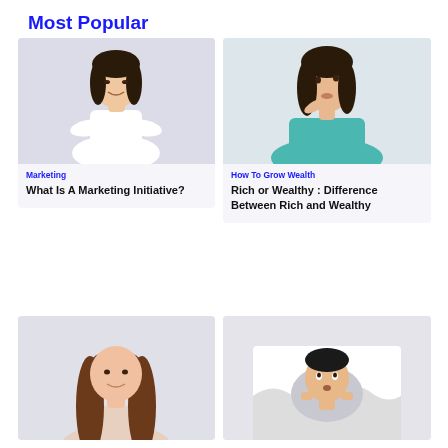Most Popular
[Figure (photo): Woman in white top with arms crossed, smiling]
Marketing
What Is A Marketing Initiative?
[Figure (photo): Woman in teal top with finger on chin, looking up and thinking]
How To Grow Wealth
Rich or Wealthy : Difference Between Rich and Wealthy
[Figure (photo): Woman with long brown hair, smiling slightly]
[Figure (photo): Man poking head through torn paper hole, looking up]